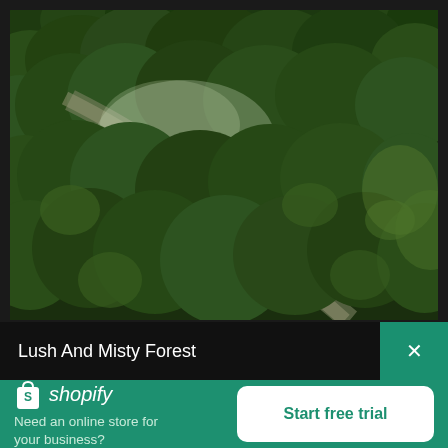[Figure (photo): Aerial drone photograph of a lush, dense forest canopy with a misty, winding dirt path/river visible cutting through the green trees. The image is taken from directly above, showing dark green treetops with a lighter misty trail through the center.]
Lush And Misty Forest
[Figure (logo): Shopify logo: white shopping bag icon with 'S' followed by italic text 'shopify' in white]
Need an online store for your business?
Start free trial